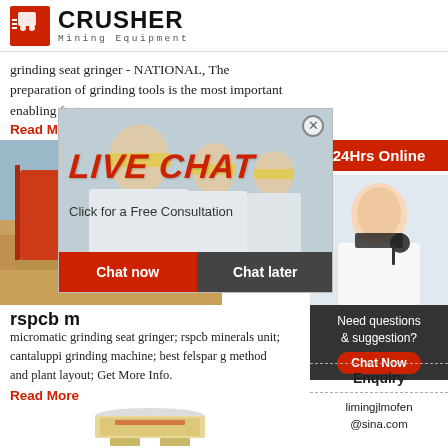[Figure (logo): Crusher Mining Equipment logo with red shopping bag icon and bold CRUSHER text]
grinding seat gringer - NATIONAL, The preparation of grinding tools is the most important enabling factor.
Read More
[Figure (photo): Mining equipment/machinery with red conveyor in sandy landscape]
rspcb m
[Figure (photo): Live chat popup overlay with workers in hard hats, LIVE CHAT text, Chat now and Chat later buttons]
[Figure (photo): Sidebar: 24Hrs Online banner with customer service representative wearing headset]
micromatic grinding seat gringer; rspcb minerals unit; cantaluppi grinding machine; best felspar g method and plant layout; Get More Info.
Read More
[Figure (photo): Cone crusher machine (beige/cream colored)]
Need questions & suggestion?
Chat Now
Enquiry
limingjlmofen @sina.com